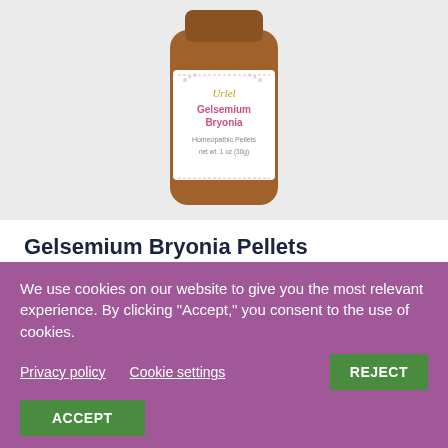[Figure (photo): Product photo of an amber glass bottle with a white label reading 'Urlel Gelsemium Bryonia Homeopathic Pellets net wt. 1 oz (30g)']
Gelsemium Bryonia Pellets
by Derek Brottlund | Jan 18, 2021 | Cold, Flu and Allergies, Health, Retail Shop
For temporary relief from muscular aches and respiratory symptoms brought on by the flu.
We use cookies on our website to give you the most relevant experience. By clicking "Accept," you consent to the use of cookies.
Privacy policy   Cookie settings   REJECT   ACCEPT